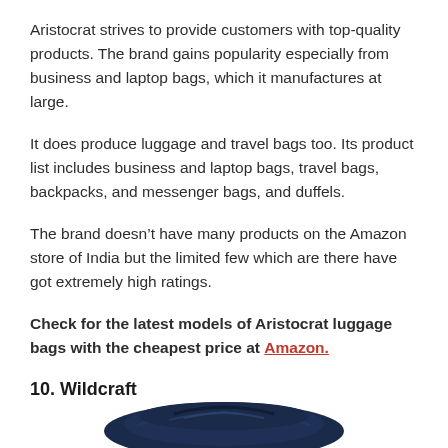Aristocrat strives to provide customers with top-quality products. The brand gains popularity especially from business and laptop bags, which it manufactures at large.
It does produce luggage and travel bags too. Its product list includes business and laptop bags, travel bags, backpacks, and messenger bags, and duffels.
The brand doesn’t have many products on the Amazon store of India but the limited few which are there have got extremely high ratings.
Check for the latest models of Aristocrat luggage bags with the cheapest price at Amazon.
10. Wildcraft
[Figure (photo): Partial image of a dark blue Wildcraft bag visible at the bottom of the page]